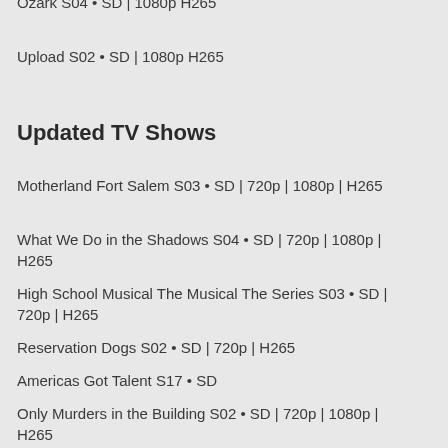Ozark S04 • SD | 1080p H265
Upload S02 • SD | 1080p H265
Updated TV Shows
Motherland Fort Salem S03 • SD | 720p | 1080p | H265
What We Do in the Shadows S04 • SD | 720p | 1080p | H265
High School Musical The Musical The Series S03 • SD | 720p | H265
Reservation Dogs S02 • SD | 720p | H265
Americas Got Talent S17 • SD
Only Murders in the Building S02 • SD | 720p | 1080p | H265
Kevin Can Fuck Himself S02 • SD | 720p | H265